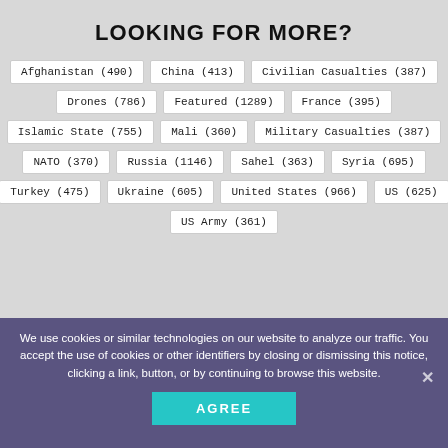LOOKING FOR MORE?
Afghanistan (490)
China (413)
Civilian Casualties (387)
Drones (786)
Featured (1289)
France (395)
Islamic State (755)
Mali (360)
Military Casualties (387)
NATO (370)
Russia (1146)
Sahel (363)
Syria (695)
Turkey (475)
Ukraine (605)
United States (966)
US (625)
US Army (361)
We use cookies or similar technologies on our website to analyze our traffic. You accept the use of cookies or other identifiers by closing or dismissing this notice, clicking a link, button, or by continuing to browse this website.